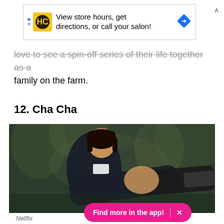[Figure (other): Advertisement banner: HC logo (yellow background), text 'View store hours, get directions, or call your salon!', blue diamond arrow icon]
love to see a spin-off series of their life together as a family on the farm.
12. Cha Cha
[Figure (photo): Dark scene showing a woman in a dark suit with a bob haircut pointing a gun toward the camera, with blurred forest trees in the background. Netflix still.]
Netflix
Find more in the app!  ×